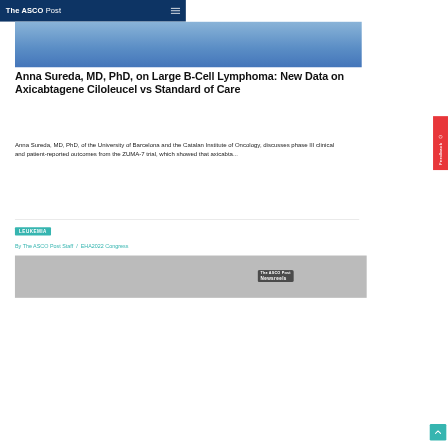The ASCO Post
[Figure (photo): Partial photo of a person in a blue top, cropped at the neck — top portion of article image]
Anna Sureda, MD, PhD, on Large B-Cell Lymphoma: New Data on Axicabtagene Ciloleucel vs Standard of Care
Anna Sureda, MD, PhD, of the University of Barcelona and the Catalan Institute of Oncology, discusses phase III clinical and patient-reported outcomes from the ZUMA-7 trial, which showed that axicabta...
LEUKEMIA
By The ASCO Post Staff  /  EHA2022 Congress
[Figure (photo): Bottom partial photo showing a person, with The ASCO Post Newsreels badge overlay]